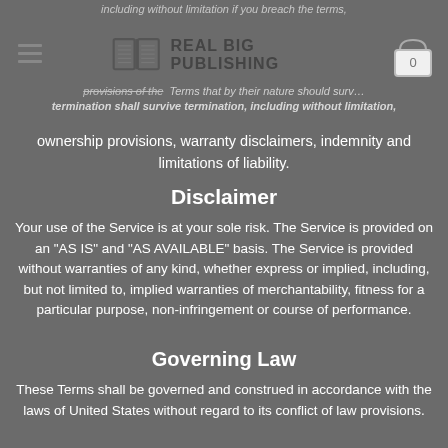REAL BIG PUBLISHING
including without limitation if you breach the terms, provisions of these Terms that by their nature should survive termination shall survive termination, including without limitation, ownership provisions, warranty disclaimers, indemnity and limitations of liability.
Disclaimer
Your use of the Service is at your sole risk. The Service is provided on an “AS IS” and “AS AVAILABLE” basis. The Service is provided without warranties of any kind, whether express or implied, including, but not limited to, implied warranties of merchantability, fitness for a particular purpose, non-infringement or course of performance.
Governing Law
These Terms shall be governed and construed in accordance with the laws of United States without regard to its conflict of law provisions.